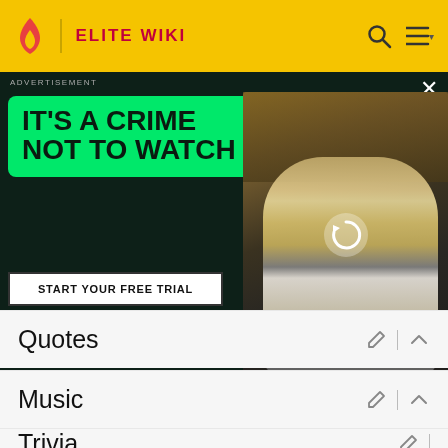ELITE WIKI
[Figure (screenshot): Hulu advertisement banner: dark background with green box reading 'IT'S A CRIME NOT TO WATCH', START YOUR FREE TRIAL button, Hulu branding, and a photo of a young man in a white outfit holding something up.]
Armando
Diego Martín as Benjamín
Quotes
Music
Trivia